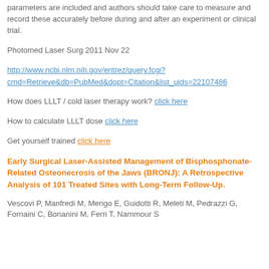parameters are included and authors should take care to measure and record these accurately before during and after an experiment or clinical trial.
Photomed Laser Surg 2011 Nov 22
http://www.ncbi.nlm.nih.gov/entrez/query.fcgi?cmd=Retrieve&db=PubMed&dopt=Citation&list_uids=22107486
How does LLLT / cold laser therapy work? click here
How to calculate LLLT dose click here
Get yourself trained click here
Early Surgical Laser-Assisted Management of Bisphosphonate-Related Osteonecrosis of the Jaws (BRONJ): A Retrospective Analysis of 101 Treated Sites with Long-Term Follow-Up.
Vescovi P, Manfredi M, Merigo E, Guidotti R, Meleti M, Pedrazzi G, Fornaini C, Bonanini M, Ferri T, Nammour S